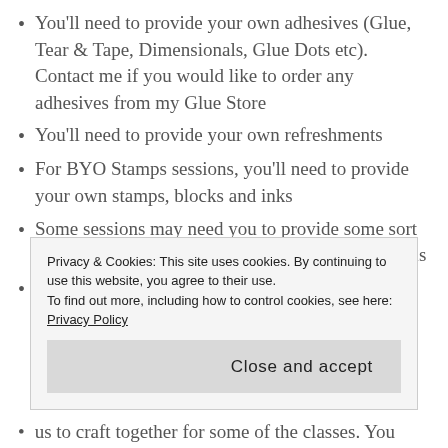You'll need to provide your own adhesives (Glue, Tear & Tape, Dimensionals, Glue Dots etc). Contact me if you would like to order any adhesives from my Glue Store
You'll need to provide your own refreshments
For BYO Stamps sessions, you'll need to provide your own stamps, blocks and inks
Some sessions may need you to provide some sort of colouring medium, but you'll be informed of this
Due to Stampin' Up! regulations, I am unable to provide any stamped designs in your kits
Privacy & Cookies: This site uses cookies. By continuing to use this website, you agree to their use.
To find out more, including how to control cookies, see here: Privacy Policy
Close and accept
us to craft together for some of the classes. You